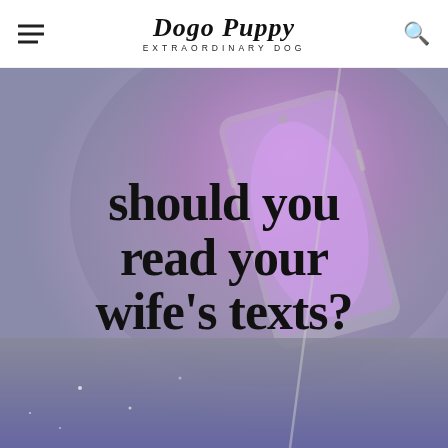Dogo Puppy EXTRAORDINARY DOG
[Figure (photo): A smartphone with a purple/violet glowing screen held in someone's hand, with large bold text overlay reading 'should you read your wife's texts?']